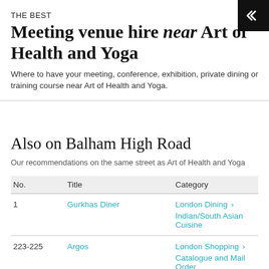THE BEST
Meeting venue hire near Art of Health and Yoga
Where to have your meeting, conference, exhibition, private dining or training course near Art of Health and Yoga.
Also on Balham High Road
Our recommendations on the same street as Art of Health and Yoga
| No. | Title | Category |
| --- | --- | --- |
| 1 | Gurkhas Diner | London Dining > Indian/South Asian Cuisine |
| 223-225 | Argos | London Shopping > Catalogue and Mail Order |
| 211 | Polish White Eagle Club [PICK] | London Dining > Eastern |